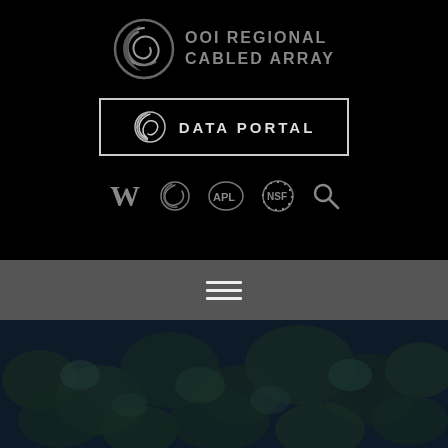[Figure (logo): OOI Regional Cabled Array logo with circular swirl icon and text 'OOI REGIONAL CABLED ARRAY' in gray on black background]
[Figure (logo): Data Portal button with OOI circular swirl icon and text 'DATA PORTAL' in gray, outlined with a white/gray rectangle border]
[Figure (logo): Navigation icon bar showing University of Washington W logo, OOI swirl, APL logo, NSF logo, and search icon on black background]
[Figure (other): Gray navigation bar with hamburger menu icon (three horizontal lines)]
[Figure (photo): Dark blue-green ocean floor photo showing what appears to be seafloor with biological/geological formations]